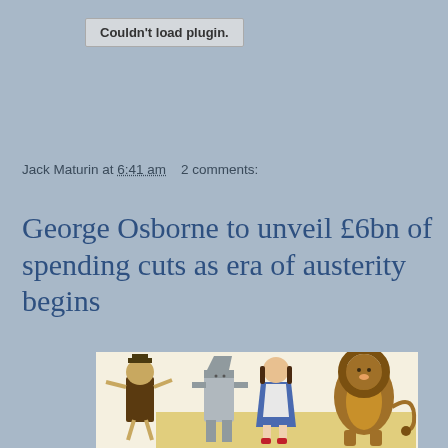Couldn't load plugin.
Jack Maturin at 6:41 am   2 comments:
George Osborne to unveil £6bn of spending cuts as era of austerity begins
[Figure (photo): Wizard of Oz characters: Scarecrow, Tin Man, Dorothy, and Cowardly Lion standing together on a yellow background]